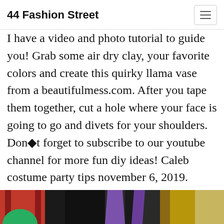44 Fashion Street
I have a video and photo tutorial to guide you! Grab some air dry clay, your favorite colors and create this quirky llama vase from a beautifulmess.com. After you tape them together, cut a hole where your face is going to go and divets for your shoulders. Don◆t forget to subscribe to our youtube channel for more fun diy ideas! Caleb costume party tips november 6, 2019.
[Figure (photo): Partial photo strip at the bottom showing colorful objects including red panels, purple shapes, and decorative items against a dark background]